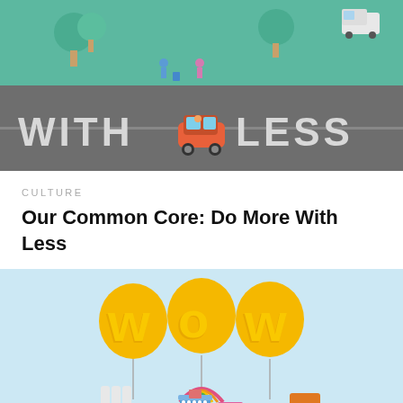[Figure (illustration): Top illustration showing a street scene from above with trees, people, and a car in the middle of text reading 'WITH [car] LESS' on a dark road/asphalt background]
CULTURE
Our Common Core: Do More With Less
[Figure (illustration): Bottom illustration on light blue background showing a 'WOW' balloon display above a party/celebration table with a cake, food items, and decorations]